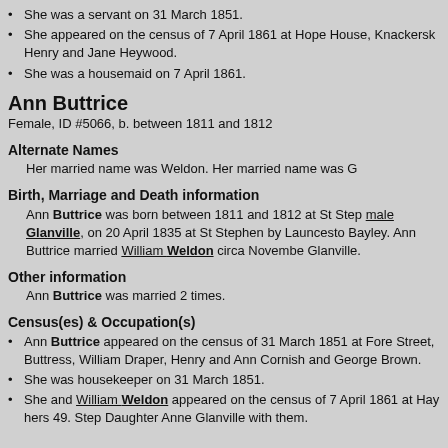She was a servant on 31 March 1851.
She appeared on the census of 7 April 1861 at Hope House, Knackersk Henry and Jane Heywood.
She was a housemaid on 7 April 1861.
Ann Buttrice
Female, ID #5066, b. between 1811 and 1812
Alternate Names
Her married name was Weldon. Her married name was G
Birth, Marriage and Death information
Ann Buttrice was born between 1811 and 1812 at St Step male Glanville, on 20 April 1835 at St Stephen by Launcesto Bayley. Ann Buttrice married William Weldon circa Novembe Glanville.
Other information
Ann Buttrice was married 2 times.
Census(es) & Occupation(s)
Ann Buttrice appeared on the census of 31 March 1851 at Fore Street, Buttress, William Draper, Henry and Ann Cornish and George Brown.
She was housekeeper on 31 March 1851.
She and William Weldon appeared on the census of 7 April 1861 at Hay hers 49. Step Daughter Anne Glanville with them.